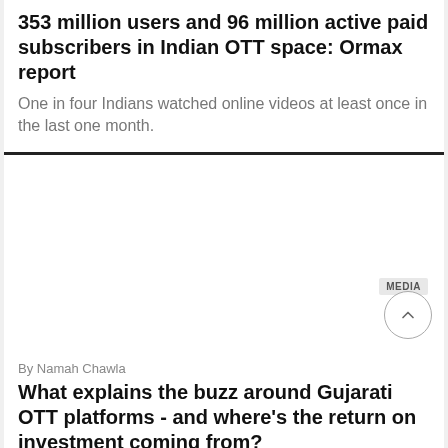353 million users and 96 million active paid subscribers in Indian OTT space: Ormax report
One in four Indians watched online videos at least once in the last one month.
[Figure (photo): Article image area for Gujarati OTT article (blank/white placeholder)]
By Namah Chawla
What explains the buzz around Gujarati OTT platforms - and where's the return on investment coming from?